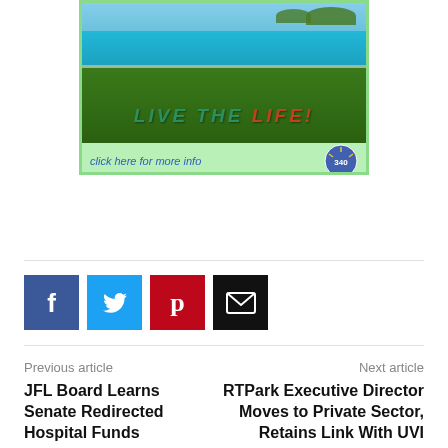[Figure (illustration): Advertisement banner with tropical beach photo showing turquoise water and lush green trees with text 'LIVE THE LIFE!' and 'click here for more info' with logo]
f
t
p
envelope icon
Previous article
JFL Board Learns Senate Redirected Hospital Funds
Next article
RTPark Executive Director Moves to Private Sector, Retains Link With UVI